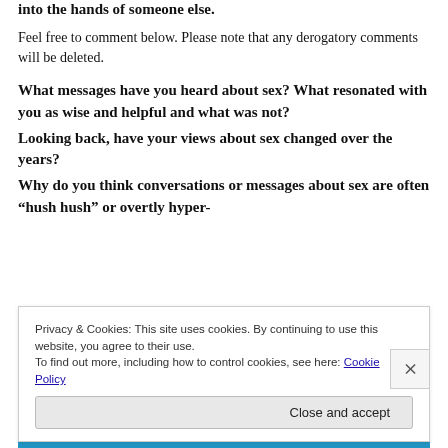into the hands of someone else.
Feel free to comment below. Please note that any derogatory comments will be deleted.
What messages have you heard about sex? What resonated with you as wise and helpful and what was not?
Looking back, have your views about sex changed over the years?
Why do you think conversations or messages about sex are often “hush hush” or overtly hyper-
Privacy & Cookies: This site uses cookies. By continuing to use this website, you agree to their use.
To find out more, including how to control cookies, see here: Cookie Policy
Close and accept